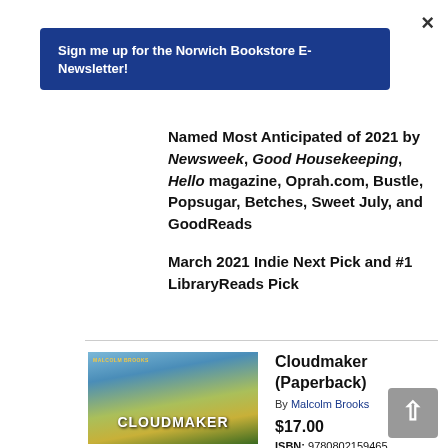×
Sign me up for the Norwich Bookstore E-Newsletter!
Named Most Anticipated of 2021 by Newsweek, Good Housekeeping, Hello magazine, Oprah.com, Bustle, Popsugar, Betches, Sweet July, and GoodReads

March 2021 Indie Next Pick and #1 LibraryReads Pick
[Figure (photo): Book cover of Cloudmaker by Malcolm Brooks, showing a dramatic sky with a small aircraft silhouette, green fields below]
Cloudmaker (Paperback)
By Malcolm Brooks
$17.00
ISBN: 9780802159465